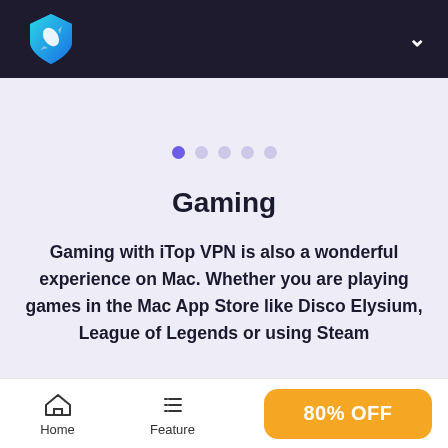iTop VPN logo and navigation header
[Figure (logo): iTop VPN logo: blue/cyan shield with rocket icon on dark navy background]
[Figure (other): Pagination dots: 5 dots with first dot highlighted in purple]
Gaming
Gaming with iTop VPN is also a wonderful experience on Mac. Whether you are playing games in the Mac App Store like Disco Elysium, League of Legends or using Steam
Home | Feature | 80% OFF